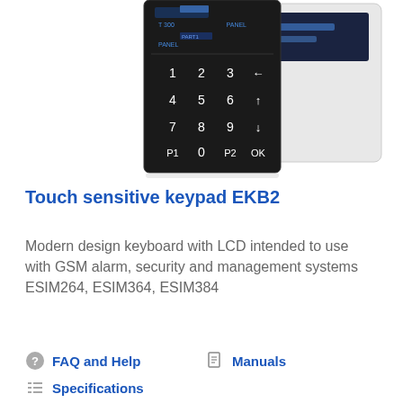[Figure (photo): Photo of the EKB2 touch sensitive keypad with black numeric keypad panel showing digits 1-9, 0, P1, P2, OK, and directional arrows, alongside a white LCD display unit.]
Touch sensitive keypad EKB2
Modern design keyboard with LCD intended to use with GSM alarm, security and management systems ESIM264, ESIM364, ESIM384
FAQ and Help
Manuals
Specifications